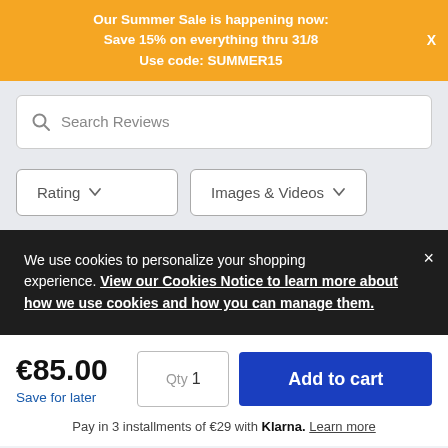Our Summer Sale is happening now: Save 15% on everything thru 31/8 Use code: SUMMER15
Search Reviews
Rating
Images & Videos
We use cookies to personalize your shopping experience. View our Cookies Notice to learn more about how we use cookies and how you can manage them.
€85.00
Save for later
Qty 1
Add to cart
Pay in 3 installments of €29 with Klarna. Learn more